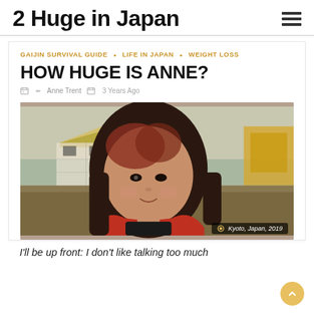2 Huge in Japan
GAIJIN SURVIVAL GUIDE · LIFE IN JAPAN · WEIGHT LOSS
HOW HUGE IS ANNE?
Anne Trent   3 Years Ago
[Figure (photo): Portrait photo of a woman with long dark red-highlighted hair wearing a red jacket, smiling slightly. Background shows a traditional Japanese building. Caption badge reads: Kyoto, Japan, 2019]
I'll be up front: I don't like talking too much